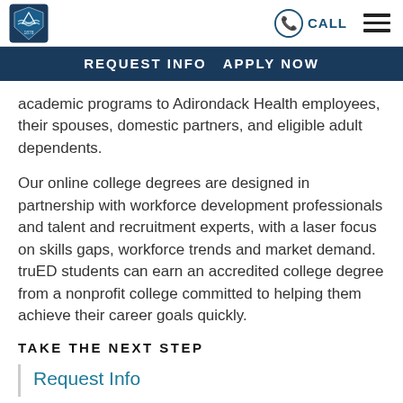CALL [hamburger menu]
REQUEST INFO  APPLY NOW
academic programs to Adirondack Health employees, their spouses, domestic partners, and eligible adult dependents.
Our online college degrees are designed in partnership with workforce development professionals and talent and recruitment experts, with a laser focus on skills gaps, workforce trends and market demand. truED students can earn an accredited college degree from a nonprofit college committed to helping them achieve their career goals quickly.
TAKE THE NEXT STEP
Request Info